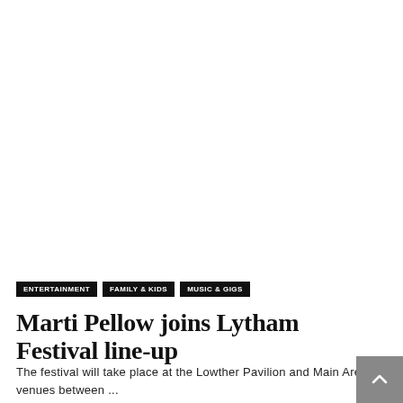ENTERTAINMENT
FAMILY & KIDS
MUSIC & GIGS
Marti Pellow joins Lytham Festival line-up
The festival will take place at the Lowther Pavilion and Main Arena venues between ...